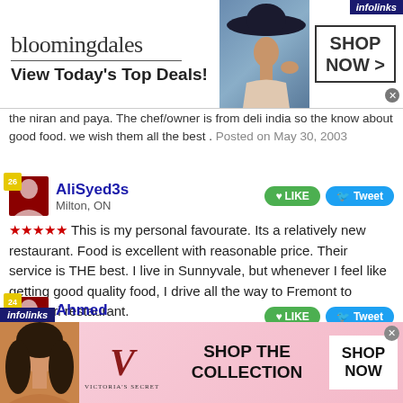[Figure (other): Bloomingdale's advertisement banner with logo, model in hat, and SHOP NOW button]
the niran and paya. The chef/owner is from deli india so the know about good food. we wish them all the best. Posted on May 30, 2003
AliSyed3s
Milton, ON
★★★★★ This is my personal favourate. Its a relatively new restaurant. Food is excellent with reasonable price. Their service is THE best. I live in Sunnyvale, but whenever I feel like getting good quality food, I drive all the way to Fremont to Tandoori restaurant.
Posted on January 28, 2003
Ahmed
Ottawa, ON
★★★★ Good ambience, good food, good service, reasonable price. Posted on March 29, 2002
[Figure (other): Victoria's Secret advertisement banner with model, VS logo, SHOP THE COLLECTION text, and SHOP NOW button]